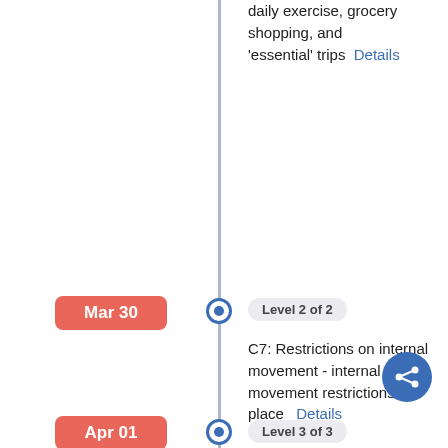daily exercise, grocery shopping, and 'essential' trips  Details
Mar 30 — Level 2 of 2 — C7: Restrictions on internal movement - internal movement restrictions in place  Details
Mar 31 — Level 1 of 3 — H2: Testing policy - only those who both (a) have symptoms AND (b) meet specific criteria (eg key workers, admitted to hospital, came into contact with a known case, returned from overseas)  Details
Apr 01 — Level 3 of 3